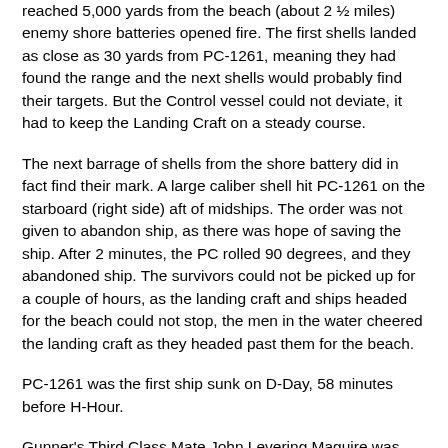reached 5,000 yards from the beach (about 2 ½ miles) enemy shore batteries opened fire. The first shells landed as close as 30 yards from PC-1261, meaning they had found the range and the next shells would probably find their targets. But the Control vessel could not deviate, it had to keep the Landing Craft on a steady course.
The next barrage of shells from the shore battery did in fact find their mark. A large caliber shell hit PC-1261 on the starboard (right side) aft of midships. The order was not given to abandon ship, as there was hope of saving the ship. After 2 minutes, the PC rolled 90 degrees, and they abandoned ship. The survivors could not be picked up for a couple of hours, as the landing craft and ships headed for the beach could not stop, the men in the water cheered the landing craft as they headed past them for the beach.
PC-1261 was the first ship sunk on D-Day, 58 minutes before H-Hour.
Gunner's Third Class Mate John Levering Maguire was Killed In Action on June 6, 1944, during the Normandy Landings, the Liberation of Europe. John was buried with